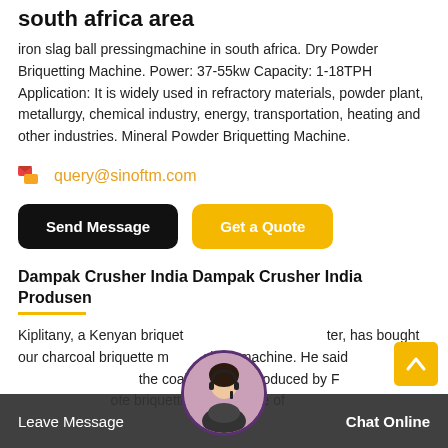south africa area
iron slag ball pressingmachine in south africa. Dry Powder Briquetting Machine. Power: 37-55kw Capacity: 1-18TPH Application: It is widely used in refractory materials, powder plant, metallurgy, chemical industry, energy, transportation, heating and other industries. Mineral Powder Briquetting Machine.
query@sinoftm.com
Send Message  Get a Quote
Dampak Crusher India Dampak Crusher India Produsen
Kiplitany, a Kenyan briquetter, has bought our charcoal briquette making machine. He said the coal briquette produced by Fote briquette machine are of